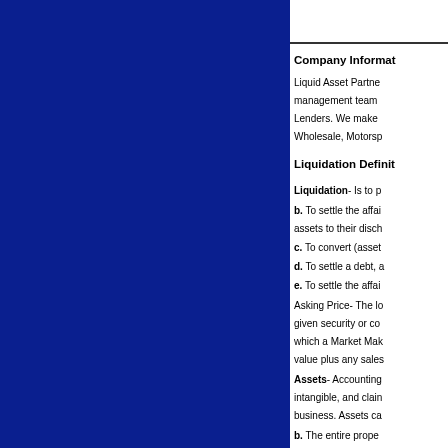Company Informat
Liquid Asset Partne management team Lenders. We make Wholesale, Motorsp
Liquidation Definit
Liquidation- Is to p
b. To settle the affai assets to their disch
c. To convert (asset
d. To settle a debt, a
e. To settle the affai
Asking Price- The lo given security or co which a Market Mak value plus any sales
Assets- Accounting intangible, and clain business. Assets ca
b. The entire prope
Asset Approach- B